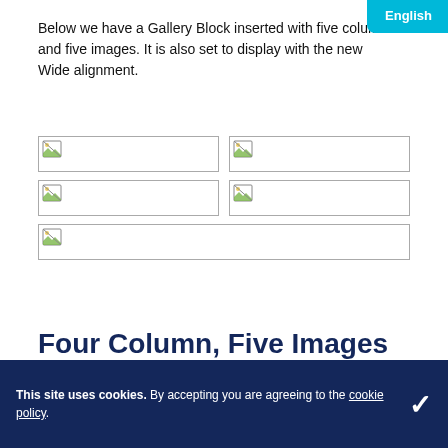English
Below we have a Gallery Block inserted with five columns and five images. It is also set to display with the new Wide alignment.
[Figure (other): Five image placeholders arranged in a gallery grid: two rows of two side-by-side placeholder images, then one full-width placeholder image]
Four Column, Five Images
This site uses cookies. By accepting you are agreeing to the cookie policy.